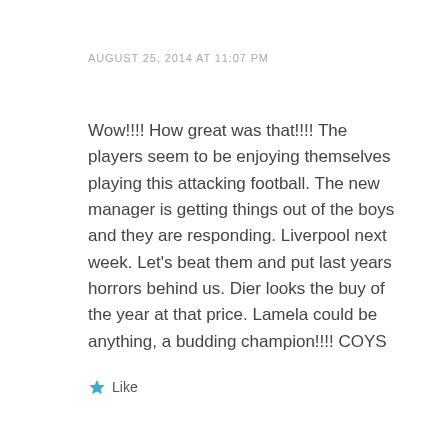AUGUST 25, 2014 AT 11:07 PM
Wow!!!! How great was that!!!!
The players seem to be enjoying themselves playing this attacking football.
The new manager is getting things out of the boys and they are responding.
Liverpool next week. Let’s beat them and put last years horrors behind us.
Dier looks the buy of the year at that price.
Lamela could be anything, a budding champion!!!!
COYS
★ Like